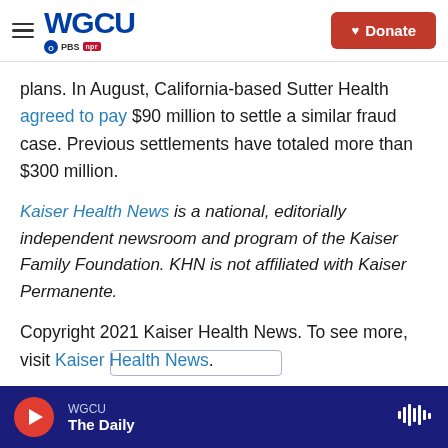WGCU PBS NPR | Donate
plans. In August, California-based Sutter Health agreed to pay $90 million to settle a similar fraud case. Previous settlements have totaled more than $300 million.
Kaiser Health News is a national, editorially independent newsroom and program of the Kaiser Family Foundation. KHN is not affiliated with Kaiser Permanente.
Copyright 2021 Kaiser Health News. To see more, visit Kaiser Health News.
WGCU | The Daily